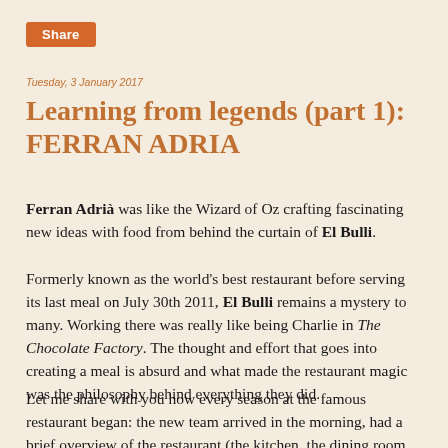Share
Tuesday, 3 January 2017
Learning from legends (part 1): FERRAN ADRIA
Ferran Adrià was like the Wizard of Oz crafting fascinating new ideas with food from behind the curtain of El Bulli.
Formerly known as the world's best restaurant before serving its last meal on July 30th 2011, El Bulli remains a mystery to many. Working there was really like being Charlie in The Chocolate Factory. The thought and effort that goes into creating a meal is absurd and what made the restaurant magic was the philosophy behind everything they did.
Let me share with you how every season at the famous restaurant began: the new team arrived in the morning, had a brief overview of the restaurant (the kitchen, the dining room and the gardens) and...